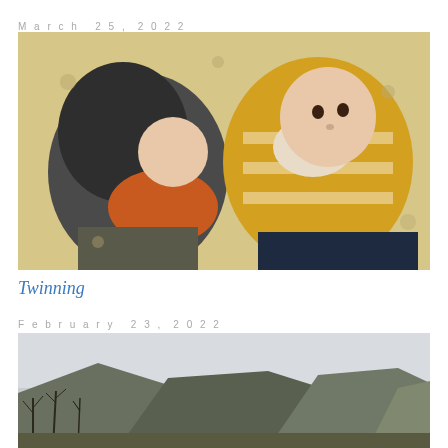March 25, 2022
[Figure (photo): Two babies lying side by side on a patterned blanket with elephant and cloud motifs. Left baby wearing a dark hoodie and orange shirt, right baby in yellow-gold striped hoodie looking at camera.]
Twinning
February 23, 2022
[Figure (photo): Landscape photo showing rolling hills or mountains with bare winter trees in the foreground and a pale sky.]